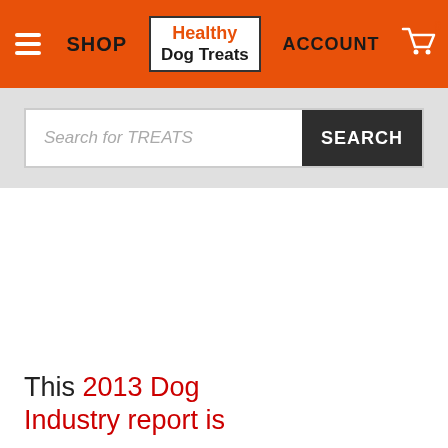SHOP | Healthy Dog Treats | ACCOUNT | 0
[Figure (screenshot): Search bar with placeholder text 'Search for TREATS' and a dark SEARCH button]
This 2013 Dog Industry report is